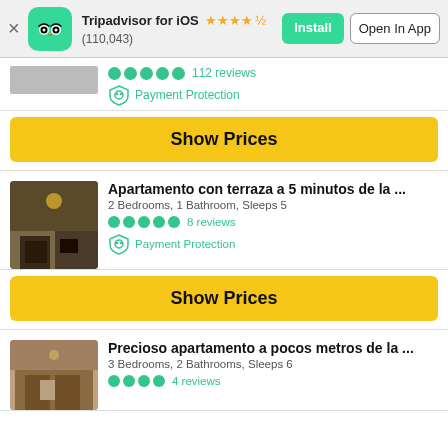Tripadvisor for iOS ★★★★½ (110,043) | Install | Open In App
[Figure (screenshot): Partial listing card showing 5 green dots, 112 reviews, and Payment Protection badge]
Show Prices
[Figure (photo): Apartment interior photo showing room with sofa and artwork]
Apartamento con terraza a 5 minutos de la ...
2 Bedrooms, 1 Bathroom, Sleeps 5
●●●●● 8 reviews
Payment Protection
Show Prices
[Figure (photo): Apartment interior photo showing room with wooden elements]
Precioso apartamento a pocos metros de la ...
3 Bedrooms, 2 Bathrooms, Sleeps 6
●●●● 4 reviews